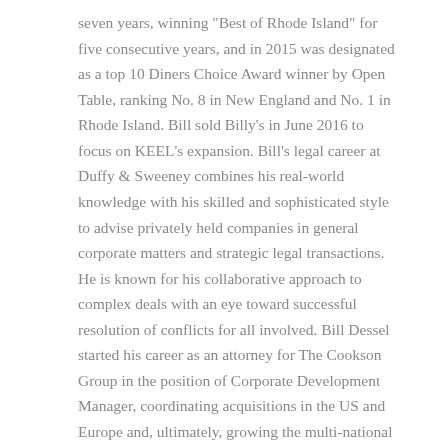seven years, winning "Best of Rhode Island" for five consecutive years, and in 2015 was designated as a top 10 Diners Choice Award winner by Open Table, ranking No. 8 in New England and No. 1 in Rhode Island. Bill sold Billy's in June 2016 to focus on KEEL's expansion. Bill's legal career at Duffy & Sweeney combines his real-world knowledge with his skilled and sophisticated style to advise privately held companies in general corporate matters and strategic legal transactions. He is known for his collaborative approach to complex deals with an eye toward successful resolution of conflicts for all involved. Bill Dessel started his career as an attorney for The Cookson Group in the position of Corporate Development Manager, coordinating acquisitions in the US and Europe and, ultimately, growing the multi-national conglomerate to over $4B in revenue and into the FTSE 100. He also worked as a lawyer for a global law firm, opening and expanding its first London office.
Bill has led manufacturing and distribution organizations, both as an owner and member of senior management. He